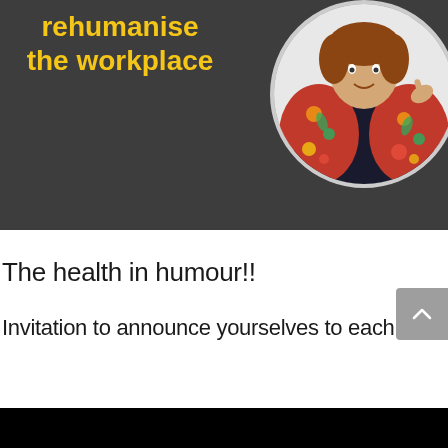[Figure (photo): Dark grey banner with yellow bold text 'rehumanise the workplace' on the left, and a circular photo of a person wearing a colorful floral jacket on the right]
The health in humour!!
Invitation to announce yourselves to each other !!